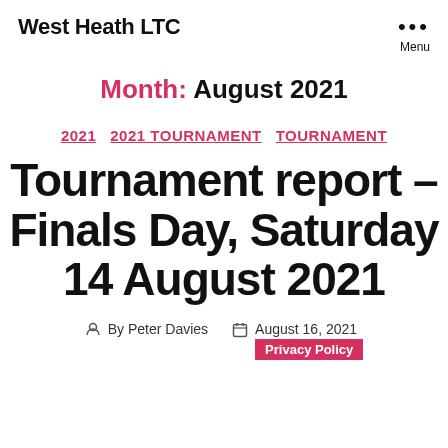West Heath LTC
Month: August 2021
2021  2021 TOURNAMENT  TOURNAMENT
Tournament report – Finals Day, Saturday 14 August 2021
By Peter Davies   August 16, 2021
Privacy Policy